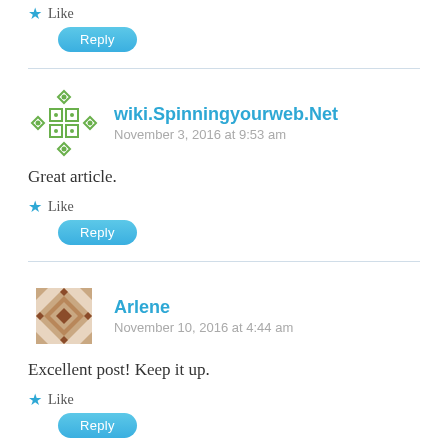Like
Reply
wiki.Spinningyourweb.Net
November 3, 2016 at 9:53 am
Great article.
Like
Reply
Arlene
November 10, 2016 at 4:44 am
Excellent post! Keep it up.
Like
Reply